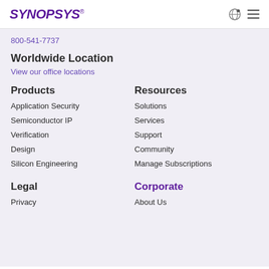SYNOPSYS®
800-541-7737
Worldwide Location
View our office locations
Products
Resources
Application Security
Solutions
Semiconductor IP
Services
Verification
Support
Design
Community
Silicon Engineering
Manage Subscriptions
Legal
Corporate
Privacy
About Us